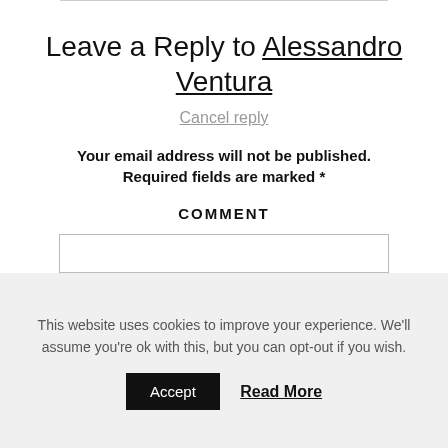Leave a Reply to Alessandro Ventura
Cancel reply
Your email address will not be published. Required fields are marked *
COMMENT
This website uses cookies to improve your experience. We'll assume you're ok with this, but you can opt-out if you wish.
Accept   Read More